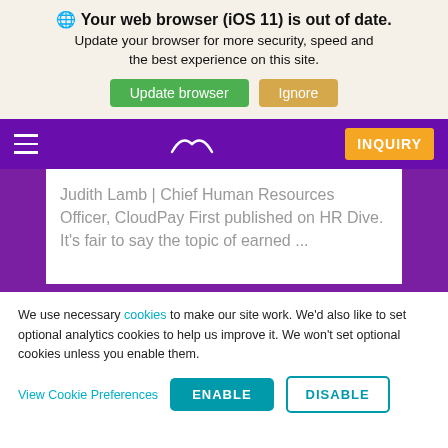🌐 Your web browser (iOS 11) is out of date. Update your browser for more security, speed and the best experience on this site.
Update browser | Ignore
[Figure (screenshot): Purple navigation bar with hamburger menu, cloud logo, and orange INQUIRY button]
Judith Lamb | Chief Human Resources Officer, CloudPay First published on HR Dive. It's fair to say the topic of earned ...
We use necessary cookies to make our site work. We'd also like to set optional analytics cookies to help us improve it. We won't set optional cookies unless you enable them.
View Cookie Preferences | ENABLE | DISABLE